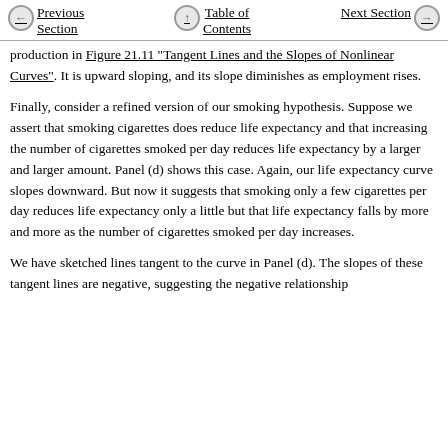Previous Section | Table of Contents | Next Section
production in Figure 21.11 "Tangent Lines and the Slopes of Nonlinear Curves". It is upward sloping, and its slope diminishes as employment rises.
Finally, consider a refined version of our smoking hypothesis. Suppose we assert that smoking cigarettes does reduce life expectancy and that increasing the number of cigarettes smoked per day reduces life expectancy by a larger and larger amount. Panel (d) shows this case. Again, our life expectancy curve slopes downward. But now it suggests that smoking only a few cigarettes per day reduces life expectancy only a little but that life expectancy falls by more and more as the number of cigarettes smoked per day increases.
We have sketched lines tangent to the curve in Panel (d). The slopes of these tangent lines are negative, suggesting the negative relationship